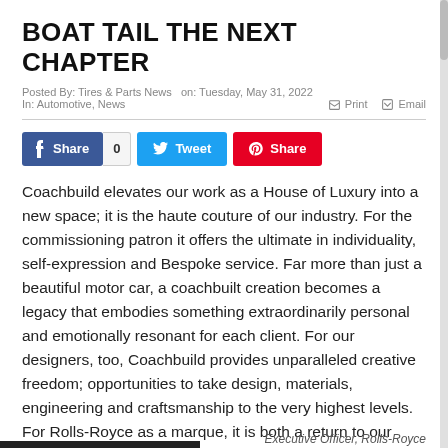BOAT TAIL THE NEXT CHAPTER
Posted By: Tires & Parts News   on: Tuesday, May 31, 2022
In: Automotive, News   🖨 Print   ✉ Email
[Figure (infographic): Social sharing buttons: Facebook Share with count 0, Twitter Tweet, Pinterest Share]
Coachbuild elevates our work as a House of Luxury into a new space; it is the haute couture of our industry. For the commissioning patron it offers the ultimate in individuality, self-expression and Bespoke service. Far more than just a beautiful motor car, a coachbuilt creation becomes a legacy that embodies something extraordinarily personal and emotionally resonant for each client. For our designers, too, Coachbuild provides unparalleled creative freedom; opportunities to take design, materials, engineering and craftsmanship to the very highest levels. For Rolls-Royce as a marque, it is both a return to our roots and a contemporary revolution, in which we deliver the impossible in conventional automotive manufacturing into a stunning reality.
...Executive Officer, Rolls-Royce